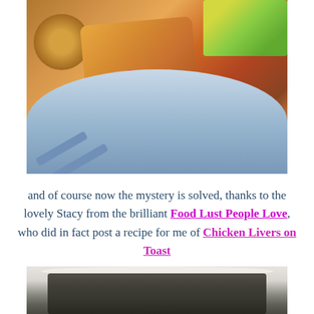[Figure (photo): A plate of roasted food including what appears to be meat/salmon, tomato, caramelized onion, roasted vegetables, potatoes and succotash (corn and lima beans) on a blue and white striped plate.]
and of course now the mystery is solved, thanks to the lovely Stacy from the brilliant Food Lust People Love, who did in fact post a recipe for me of Chicken Livers on Toast
[Figure (photo): A white bowl or plate containing what appears to be chicken livers on toast or a similar dark-colored dish, partially visible at the bottom of the page.]